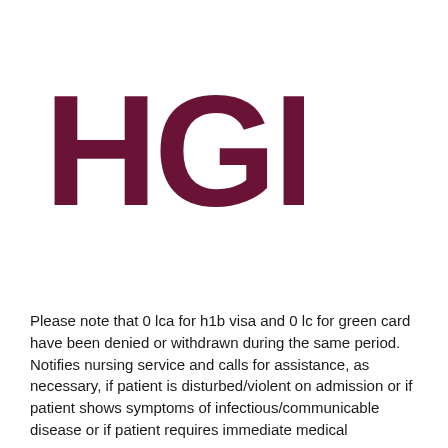[Figure (logo): HGH logo in dark maroon/burgundy bold sans-serif letters]
Please note that 0 lca for h1b visa and 0 lc for green card have been denied or withdrawn during the same period. Notifies nursing service and calls for assistance, as necessary, if patient is disturbed/violent on admission or if patient shows symptoms of infectious/communicable disease or if patient requires immediate medical